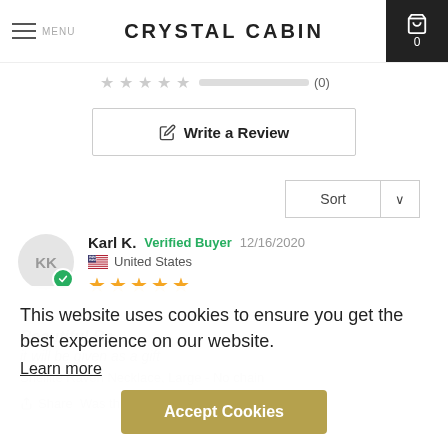CRYSTAL CABIN
[Figure (other): Five empty/grey star rating icons followed by a grey rating bar and count (0)]
Write a Review
Sort ∨
Karl K.  Verified Buyer  12/16/2020
United States
★★★★★
Beautiful Ba... (faded - obscured by cookie overlay)
it will be given as a gift (faded)
Shellite Raven Necklace, Large - No chain (faded)
Share Was this helpful? 0 0
This website uses cookies to ensure you get the best experience on our website.
Learn more
Accept Cookies